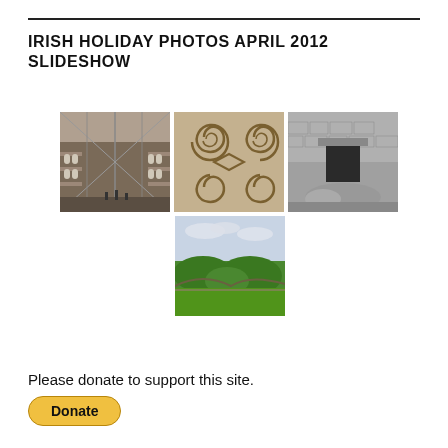IRISH HOLIDAY PHOTOS APRIL 2012 SLIDESHOW
[Figure (photo): Grid of 4 Irish holiday photos: top-left shows interior of a large Victorian-style building with glass roof; top-center shows stone carvings with spiral/Celtic patterns; top-right shows stone entrance to a megalithic tomb with large round stone; bottom-center shows green grassy mounds (ancient burial mounds) in a landscape.]
Please donate to support this site.
[Figure (other): Yellow PayPal Donate button]